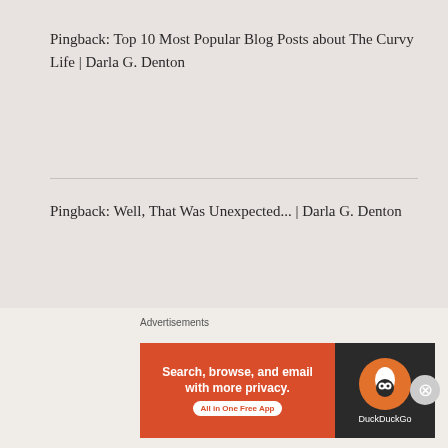Pingback: Top 10 Most Popular Blog Posts about The Curvy Life | Darla G. Denton
Pingback: Well, That Was Unexpected... | Darla G. Denton
Leave a Reply
Your email address will not be published. Required
Advertisements
[Figure (other): DuckDuckGo advertisement banner: Search, browse, and email with more privacy. All in One Free App. Shows DuckDuckGo logo on dark background.]